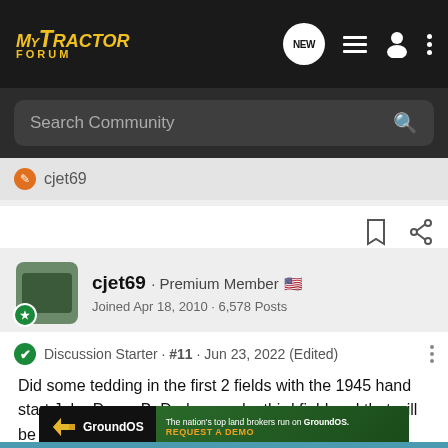MyTractor Forum — navigation bar with logo, NEW button, list icon, person icon, dots icon
Search Community
cjet69
cjet69 · Premium Member
Joined Apr 18, 2010 · 6,578 Posts
Discussion Starter · #11 · Jun 23, 2022 (Edited)
Did some tedding in the first 2 fields with the 1945 hand start John Deere B. Dad mowed a third field and that will be it for now with possible showers moving in Tuesday morning. Dad is 93 years young this year. Hard to believe he is still haying.
[Figure (screenshot): GroundOS advertisement banner: 'The nation's top land brokers run on GroundOS. REQUEST A DEMO']